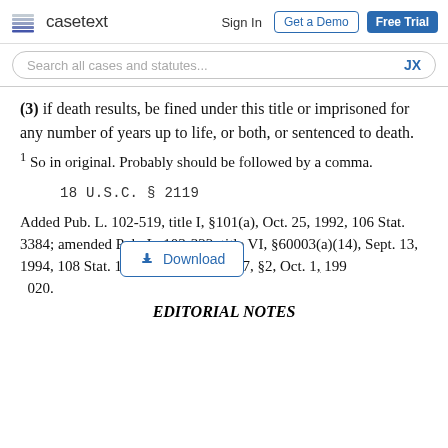casetext | Sign In | Get a Demo | Free Trial
Search all cases and statutes... JX
(3) if death results, be fined under this title or imprisoned for any number of years up to life, or both, or sentenced to death.
1 So in original. Probably should be followed by a comma.
18 U.S.C. § 2119
Added Pub. L. 102-519, title I, §101(a), Oct. 25, 1992, 106 Stat. 3384; amended Pub. L. 103-322, title VI, §60003(a)(14), Sept. 13, 1994, 108 Stat. 1970; Pub. L. 104-217, §2, Oct. 1, 1996, 110 Stat. 3020.
EDITORIAL NOTES